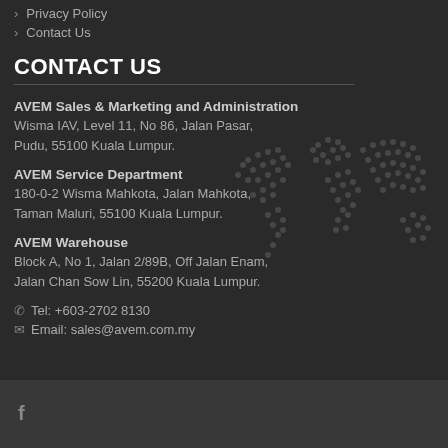> Privacy Policy
> Contact Us
CONTACT US
AVEM Sales & Marketing and Administration
Wisma IAV, Level 11, No 86, Jalan Pasar,
Pudu, 55100 Kuala Lumpur.
AVEM Service Department
180-0-2 Wisma Mahkota, Jalan Mahkota,
Taman Maluri, 55100 Kuala Lumpur.
AVEM Warehouse
Block A, No 1, Jalan 2/89B, Off Jalan Enam,
Jalan Chan Sow Lin, 55200 Kuala Lumpur.
Tel: +603-2702 8130
Email: sales@avem.com.my
f